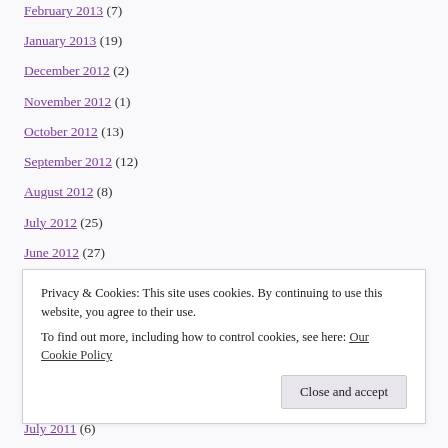February 2013 (7)
January 2013 (19)
December 2012 (2)
November 2012 (1)
October 2012 (13)
September 2012 (12)
August 2012 (8)
July 2012 (25)
June 2012 (27)
May 2012 (24)
April 2012 (10)
March 2012 (18)
February 2012 (9)
January 2012 (5)
Privacy & Cookies: This site uses cookies. By continuing to use this website, you agree to their use. To find out more, including how to control cookies, see here: Our Cookie Policy
July 2011 (6)